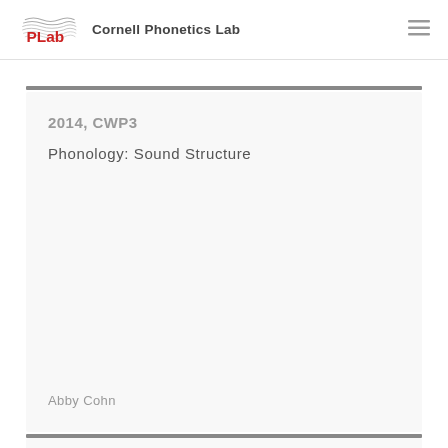Cornell Phonetics Lab
2014, CWP3
Phonology: Sound Structure
Abby Cohn
2014, CWP3